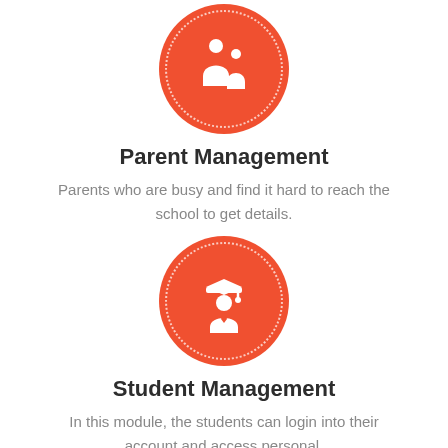[Figure (illustration): Red circle with dotted border containing white icon of adult and child (parent and child silhouettes)]
Parent Management
Parents who are busy and find it hard to reach the school to get details.
[Figure (illustration): Red circle with dotted border containing white icon of a graduate student with cap and tie]
Student Management
In this module, the students can login into their account and access personal.